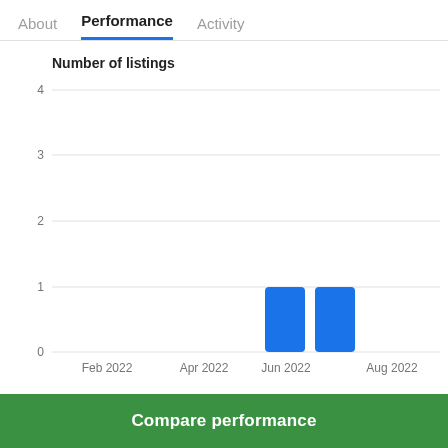About  Performance  Activity
Number of listings
[Figure (bar-chart): Number of listings]
Compare performance